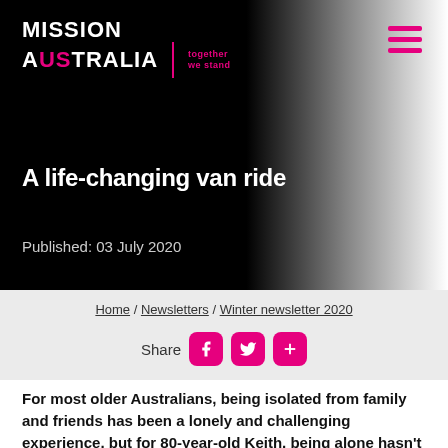[Figure (logo): Mission Australia logo with pink 'US' highlight and tagline 'together we stand']
A life-changing van ride
Published: 03 July 2020
Home / Newsletters / Winter newsletter 2020
Share
For most older Australians, being isolated from family and friends has been a lonely and challenging experience, but for 80-year-old Keith, being alone hasn't dampened his outlook.